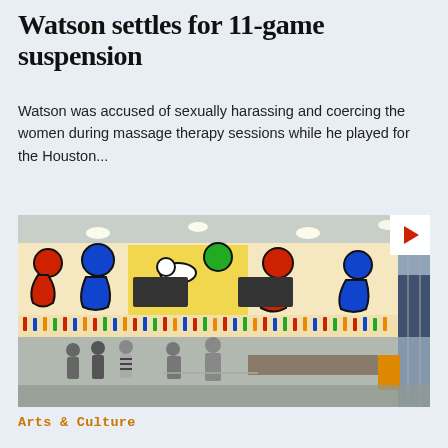Watson settles for 11-game suspension
Watson was accused of sexually harassing and coercing the women during massage therapy sessions while he played for the Houston...
[Figure (photo): Interior lobby of a building featuring a colorful Keith Haring-style mural on the upper wall, with people standing in line at what appears to be a service counter. The mural shows bold, colorful cartoon-like figures in red, blue, green, and yellow.]
Arts & Culture